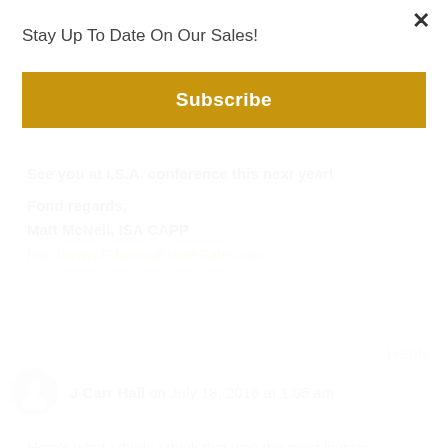Stay Up To Date On Our Sales!
Subscribe
See you at I.S.A. conference this next year!

Fond regards,
Matt McNeil, ISA CAPP
http://www.EdmondEstateSales.com
Reply
J Carr Hall on July 18, 2016 at 1:05 am
Here's what I think: I think that was the most literate, articulate, well-written blog I have ever read. How refreshing!